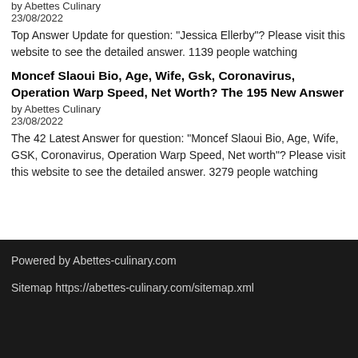by Abettes Culinary
23/08/2022
Top Answer Update for question: "Jessica Ellerby"? Please visit this website to see the detailed answer. 1139 people watching
Moncef Slaoui Bio, Age, Wife, Gsk, Coronavirus, Operation Warp Speed, Net Worth? The 195 New Answer
by Abettes Culinary
23/08/2022
The 42 Latest Answer for question: "Moncef Slaoui Bio, Age, Wife, GSK, Coronavirus, Operation Warp Speed, Net worth"? Please visit this website to see the detailed answer. 3279 people watching
Powered by Abettes-culinary.com

Sitemap https://abettes-culinary.com/sitemap.xml